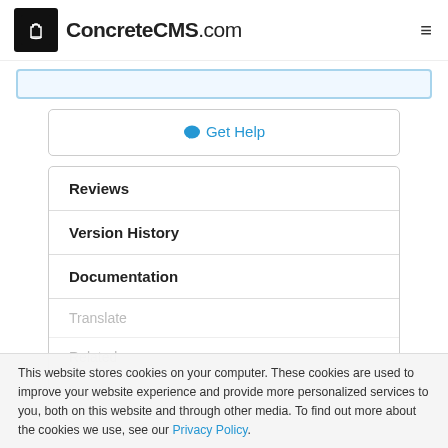ConcreteCMS.com
[Figure (other): Search bar input field with light blue border]
💬 Get Help
Reviews
Version History
Documentation
Translate
Related
Corporate
This website stores cookies on your computer. These cookies are used to improve your website experience and provide more personalized services to you, both on this website and through other media. To find out more about the cookies we use, see our Privacy Policy.